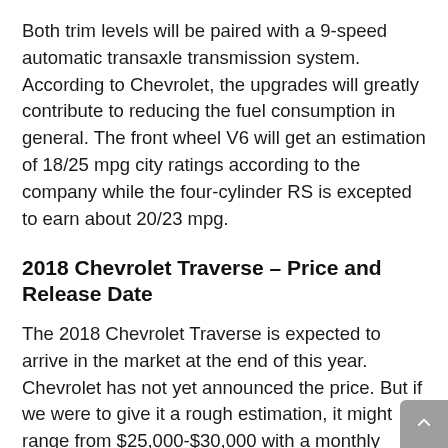Both trim levels will be paired with a 9-speed automatic transaxle transmission system. According to Chevrolet, the upgrades will greatly contribute to reducing the fuel consumption in general. The front wheel V6 will get an estimation of 18/25 mpg city ratings according to the company while the four-cylinder RS is excepted to earn about 20/23 mpg.
2018 Chevrolet Traverse – Price and Release Date
The 2018 Chevrolet Traverse is expected to arrive in the market at the end of this year. Chevrolet has not yet announced the price. But if we were to give it a rough estimation, it might range from $25,000-$30,000 with a monthly lease price of about